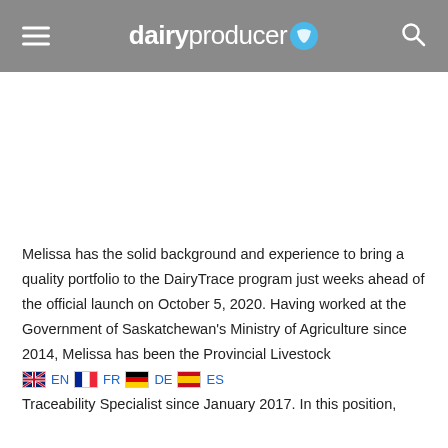dairyproducer
Melissa has the solid background and experience to bring a quality portfolio to the DairyTrace program just weeks ahead of the official launch on October 5, 2020. Having worked at the Government of Saskatchewan's Ministry of Agriculture since 2014, Melissa has been the Provincial Livestock Traceability Specialist since January 2017. In this position,